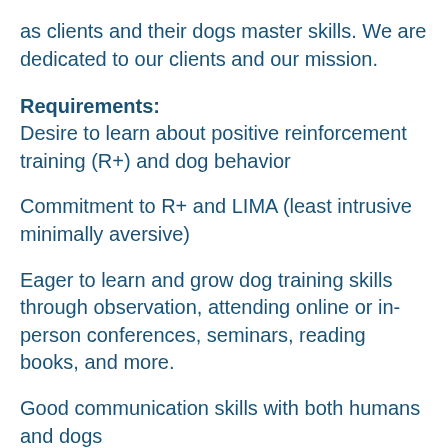as clients and their dogs master skills. We are dedicated to our clients and our mission.
Requirements:
Desire to learn about positive reinforcement training (R+) and dog behavior
Commitment to R+ and LIMA (least intrusive minimally aversive)
Eager to learn and grow dog training skills through observation, attending online or in-person conferences, seminars, reading books, and more.
Good communication skills with both humans and dogs